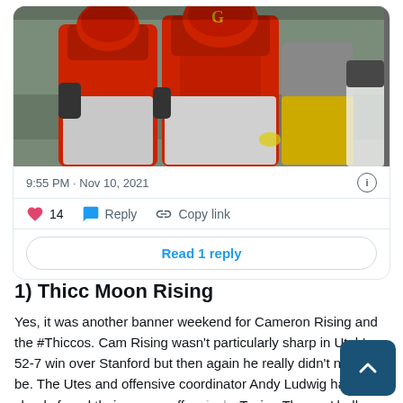[Figure (photo): Football players in red uniforms on field, partially visible from waist down, with a referee in the background]
9:55 PM · Nov 10, 2021
14  Reply  Copy link
Read 1 reply
1) Thicc Moon Rising
Yes, it was another banner weekend for Cameron Rising and the #Thiccos. Cam Rising wasn't particularly sharp in Utah's 52-7 win over Stanford but then again he really didn't need to be. The Utes and offensive coordinator Andy Ludwig have clearly found their groove offe… Tavion Thomas' ball control issues from earlier in… have largely subsided, TJ Pledger has become a nice